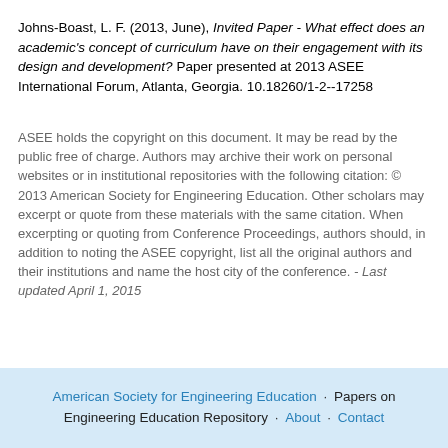Johns-Boast, L. F. (2013, June), Invited Paper - What effect does an academic's concept of curriculum have on their engagement with its design and development? Paper presented at 2013 ASEE International Forum, Atlanta, Georgia. 10.18260/1-2--17258
ASEE holds the copyright on this document. It may be read by the public free of charge. Authors may archive their work on personal websites or in institutional repositories with the following citation: © 2013 American Society for Engineering Education. Other scholars may excerpt or quote from these materials with the same citation. When excerpting or quoting from Conference Proceedings, authors should, in addition to noting the ASEE copyright, list all the original authors and their institutions and name the host city of the conference. - Last updated April 1, 2015
American Society for Engineering Education · Papers on Engineering Education Repository · About · Contact